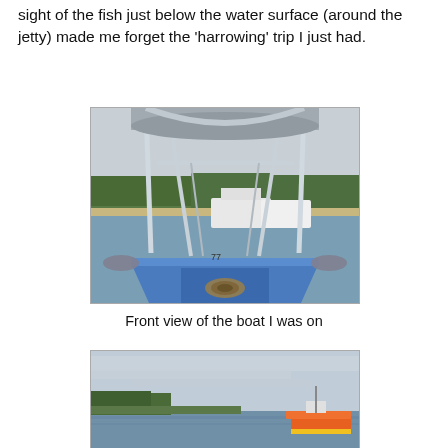sight of the fish just below the water surface (around the jetty) made me forget the 'harrowing' trip I just had.
[Figure (photo): Front view from inside a boat with a white canopy/frame structure, showing blue hull bow, rope coiled on floor, and other boats and shoreline with trees in background.]
Front view of the boat I was on
[Figure (photo): View from a boat looking toward a shoreline with trees, overcast sky, and another colorful boat visible on the right side of the frame.]